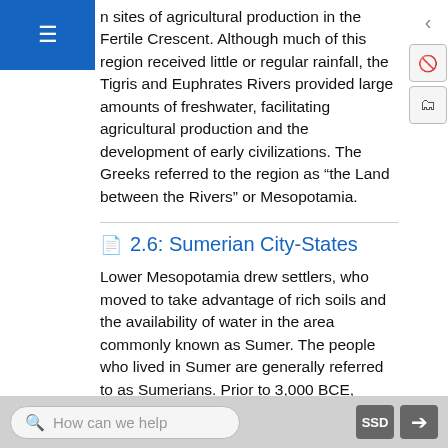n sites of agricultural production in the Fertile Crescent. Although much of this region received little or regular rainfall, the Tigris and Euphrates Rivers provided large amounts of freshwater, facilitating agricultural production and the development of early civilizations. The Greeks referred to the region as “the Land between the Rivers” or Mesopotamia.
2.6: Sumerian City-States
Lower Mesopotamia drew settlers, who moved to take advantage of rich soils and the availability of water in the area commonly known as Sumer. The people who lived in Sumer are generally referred to as Sumerians. Prior to 3,000 BCE, Sumerians, whose origins remain a subject of debate, founded a number of independent cities in Lower Mesopotamia. In these cities, Sumerians had organized religions, centralized governments, social hierarchies, and access to trade networks.